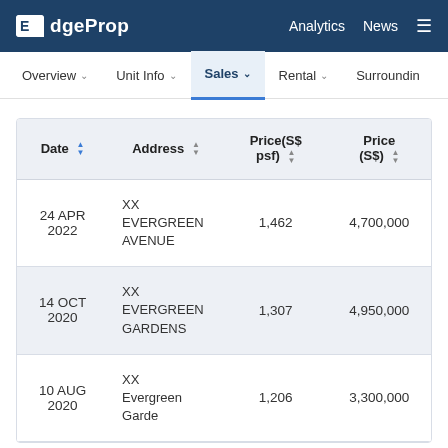EdgeProp | Analytics | News
Overview | Unit Info | Sales | Rental | Surroundings
| Date | Address | Price(S$ psf) | Price (S$) |
| --- | --- | --- | --- |
| 24 APR 2022 | XX EVERGREEN AVENUE | 1,462 | 4,700,000 |
| 14 OCT 2020 | XX EVERGREEN GARDENS | 1,307 | 4,950,000 |
| 10 AUG 2020 | XX Evergreen Gardens | 1,206 | 3,300,000 |